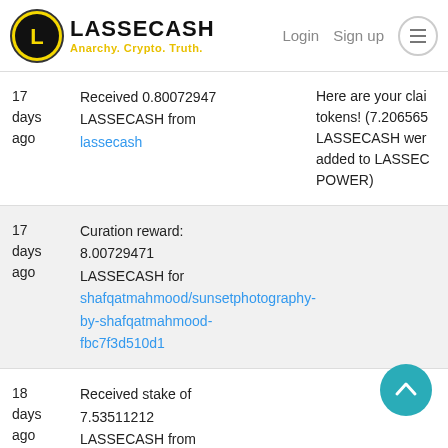LASSECASH — Anarchy. Crypto. Truth. | Login | Sign up
| Time | Description | Message |
| --- | --- | --- |
| 17 days ago | Received 0.80072947 LASSECASH from lassecash | Here are your clai tokens! (7.206565 LASSECASH wer added to LASSEC POWER) |
| 17 days ago | Curation reward: 8.00729471 LASSECASH for shafqatmahmood/sunsetphotography-by-shafqatmahmood-fbc7f3d510d1 |  |
| 18 days ago | Received stake of 7.53511212 LASSECASH from lassecash |  |